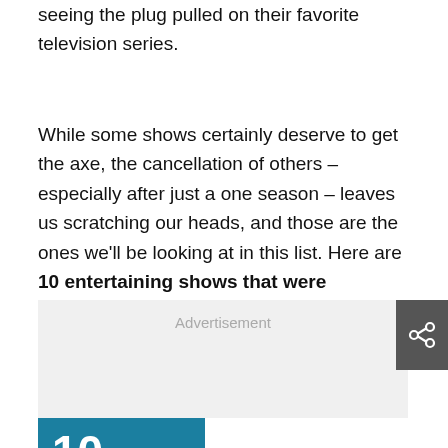seeing the plug pulled on their favorite television series.
While some shows certainly deserve to get the axe, the cancellation of others – especially after just a one season – leaves us scratching our heads, and those are the ones we'll be looking at in this list. Here are 10 entertaining shows that were cancelled after one season:
[Figure (other): Advertisement placeholder box with share button]
[Figure (other): Teal numbered box showing 10/10]